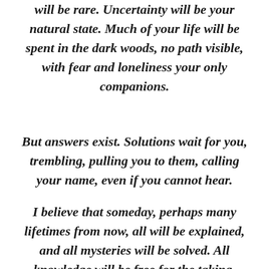will be rare. Uncertainty will be your natural state. Much of your life will be spent in the dark woods, no path visible, with fear and loneliness your only companions.
But answers exist. Solutions wait for you, trembling, pulling you to them, calling your name, even if you cannot hear.
I believe that someday, perhaps many lifetimes from now, all will be explained, and all mysteries will be solved. All knowledge will be free for the taking,